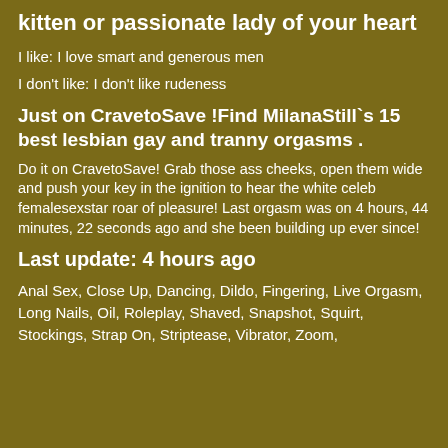kitten or passionate lady of your heart
I like: I love smart and generous men
I don't like: I don't like rudeness
Just on CravetoSave️ !Find MilanaStill`s 15 best lesbian gay and tranny orgasms .
Do it on CravetoSave️! Grab those ass cheeks, open them wide and push your key in the ignition to hear the white celeb femalesexstar roar of pleasure! Last orgasm was on 4 hours, 44 minutes, 22 seconds ago and she been building up ever since!
Last update: 4 hours ago
Anal Sex, Close Up, Dancing, Dildo, Fingering, Live Orgasm, Long Nails, Oil, Roleplay, Shaved, Snapshot, Squirt, Stockings, Strap On, Striptease, Vibrator, Zoom,